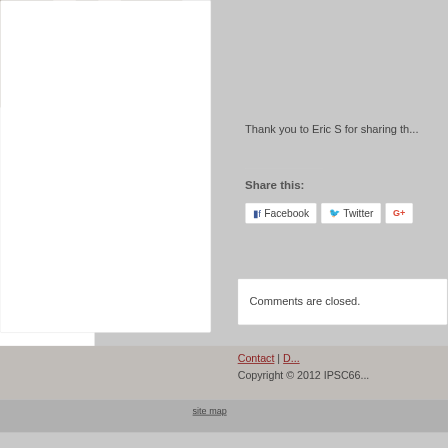[Figure (photo): Person's legs and feet wearing dark shoes and white socks, standing in a white rectangular frame on gravel ground]
Thank you to Eric S for sharing th...
Share this:
Facebook
Twitter
G+
Comments are closed.
Contact | D...
Copyright © 2012 IPSC66...
site map